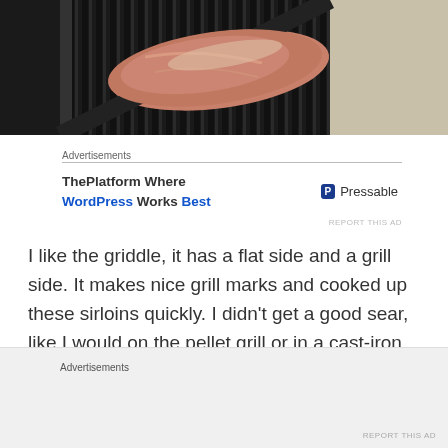[Figure (photo): A piece of raw meat (sirloin) on a dark grill pan with ridges, partial view of countertop in background]
Advertisements
ThePlatform Where WordPress Works Best   P Pressable
REPORT THIS AD
I like the griddle, it has a flat side and a grill side. It makes nice grill marks and cooked up these sirloins quickly. I didn't get a good sear, like I would on the pellet grill or in a cast-iron skillet, but the steak was tender and flavorful
Advertisements
REPORT THIS AD